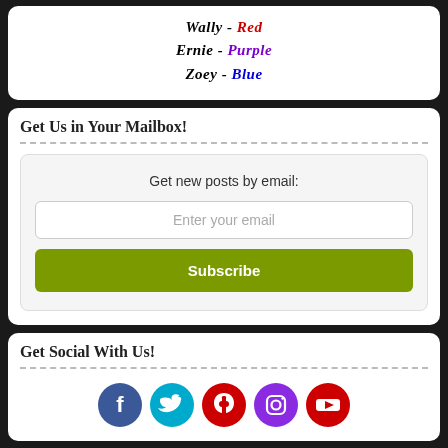Wally - Red
Ernie - Purple
Zoey - Blue
Get Us in Your Mailbox!
Get new posts by email:
Enter your email
Subscribe
Get Social With Us!
[Figure (illustration): Row of 5 social media icon circles: Facebook (blue), Twitter (teal/cyan), Pinterest (red), Instagram (purple), YouTube (red)]